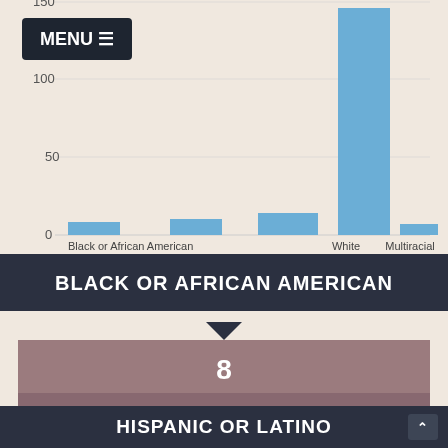[Figure (bar-chart): Race/Ethnicity Bar Chart]
BLACK OR AFRICAN AMERICAN
8
3%
HISPANIC OR LATINO